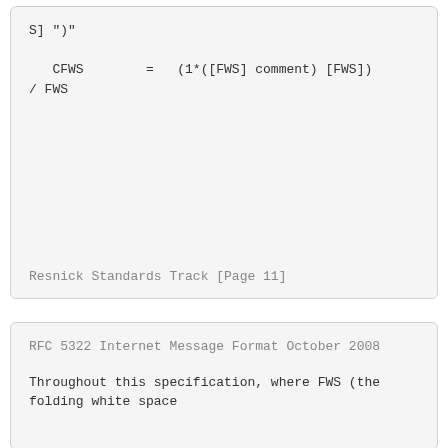Resnick                     Standards Track
[Page 11]
RFC 5322                Internet Message Format
October 2008
Throughout this specification, where FWS (the folding white space